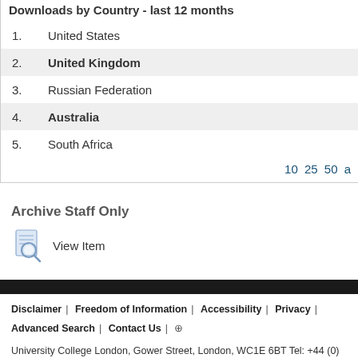Downloads by Country - last 12 months
1. United States
2. United Kingdom
3. Russian Federation
4. Australia
5. South Africa
10 25 50 a
Archive Staff Only
View Item
Disclaimer | Freedom of Information | Accessibility | Privacy | Advanced Search | Contact Us | +
University College London, Gower Street, London, WC1E 6BT Tel: +44 (0) 20 7679 2000
© UCL 1999–2022